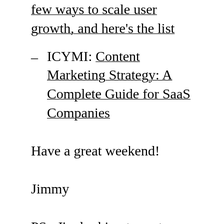few ways to scale user growth, and here's the list
ICYMI: Content Marketing Strategy: A Complete Guide for SaaS Companies
Have a great weekend!
Jimmy
PS - I'm looking to partner with a few great businesses to sponsor this newsletter. It reaches a bunch of smart